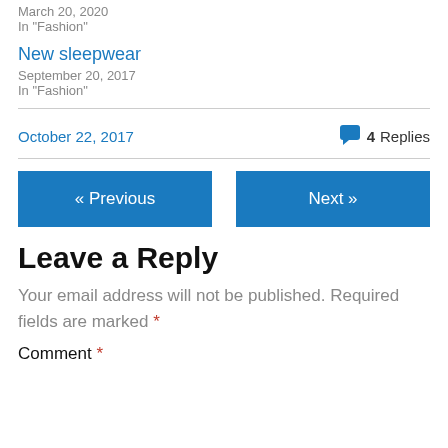March 20, 2020
In "Fashion"
New sleepwear
September 20, 2017
In "Fashion"
October 22, 2017   💬 4 Replies
« Previous
Next »
Leave a Reply
Your email address will not be published. Required fields are marked *
Comment *